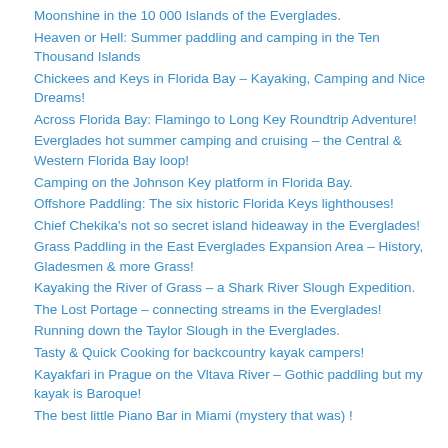Moonshine in the 10 000 Islands of the Everglades.
Heaven or Hell: Summer paddling and camping in the Ten Thousand Islands
Chickees and Keys in Florida Bay – Kayaking, Camping and Nice Dreams!
Across Florida Bay: Flamingo to Long Key Roundtrip Adventure!
Everglades hot summer camping and cruising – the Central & Western Florida Bay loop!
Camping on the Johnson Key platform in Florida Bay.
Offshore Paddling: The six historic Florida Keys lighthouses!
Chief Chekika's not so secret island hideaway in the Everglades!
Grass Paddling in the East Everglades Expansion Area – History, Gladesmen & more Grass!
Kayaking the River of Grass – a Shark River Slough Expedition.
The Lost Portage – connecting streams in the Everglades!
Running down the Taylor Slough in the Everglades.
Tasty & Quick Cooking for backcountry kayak campers!
Kayakfari in Prague on the Vltava River – Gothic paddling but my kayak is Baroque!
The best little Piano Bar in Miami (mystery that was) !